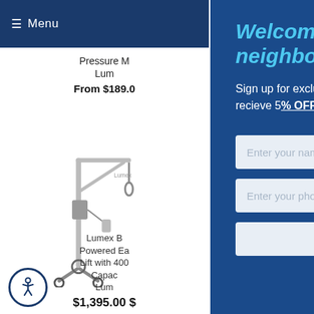≡ Menu
Pressure M
Lum
From $189.0
[Figure (photo): Patient lift / Hoyer lift medical equipment - a metal frame with wheels, arm, and sling attachment]
Lumex B Powered Ea Lift with 400 Capac Lum
$1,395.00
Welcome to the neighborhood.
Sign up for exclusive offers and content and recieve 5% OFF your next order.
Enter your name
Enter your phone number